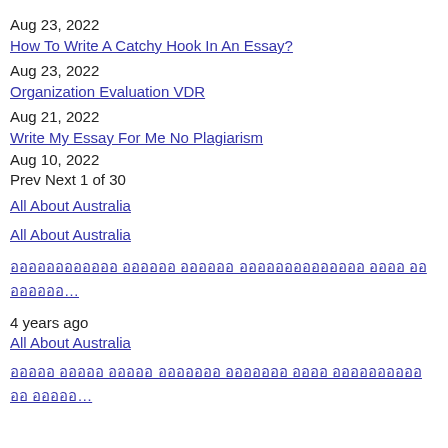Aug 23, 2022
How To Write A Catchy Hook In An Essay?
Aug 23, 2022
Organization Evaluation VDR
Aug 21, 2022
Write My Essay For Me No Plagiarism
Aug 10, 2022
Prev Next 1 of 30
All About Australia
All About Australia
ออออออออออออ ออออออ ออออออ ออออออออออออออ ออออ ออออออออ…
4 years ago
All About Australia
อออออ อออออ อออออ อออออออ อออออออ ออออ ออออออออออออ อออออ…